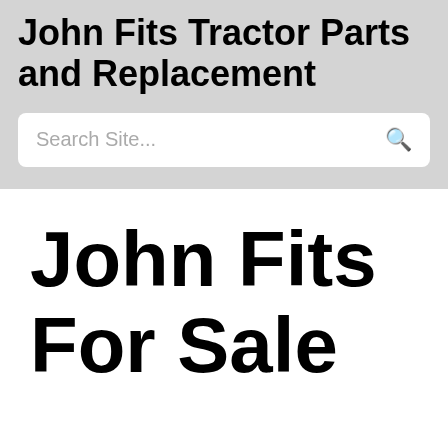John Fits Tractor Parts and Replacement
[Figure (other): Search bar with placeholder text 'Search Site...' and a magnifying glass icon on a light gray background]
John Fits For Sale